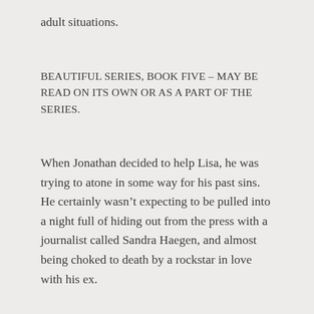adult situations.
BEAUTIFUL SERIES, BOOK FIVE – MAY BE READ ON ITS OWN OR AS A PART OF THE SERIES.
When Jonathan decided to help Lisa, he was trying to atone in some way for his past sins. He certainly wasn't expecting to be pulled into a night full of hiding out from the press with a journalist called Sandra Haegen, and almost being choked to death by a rockstar in love with his ex.